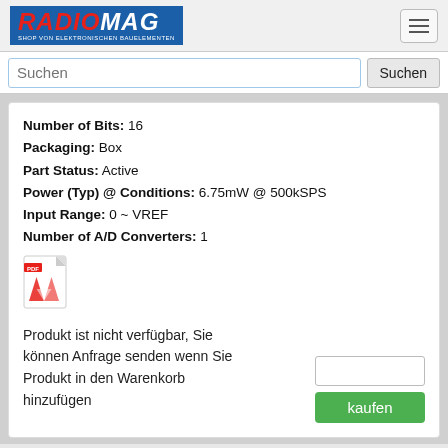RADIOMAG - SHOP VON ELEKTRONISCHEN BAUELEMENTEN
Suchen
Number of Bits: 16
Packaging: Box
Part Status: Active
Power (Typ) @ Conditions: 6.75mW @ 500kSPS
Input Range: 0 ~ VREF
Number of A/D Converters: 1
[Figure (other): PDF document icon]
Produkt ist nicht verfügbar, Sie können Anfrage senden wenn Sie Produkt in den Warenkorb hinzufügen
kaufen
[Figure (logo): PayPal logo with trademark symbol]
goods index